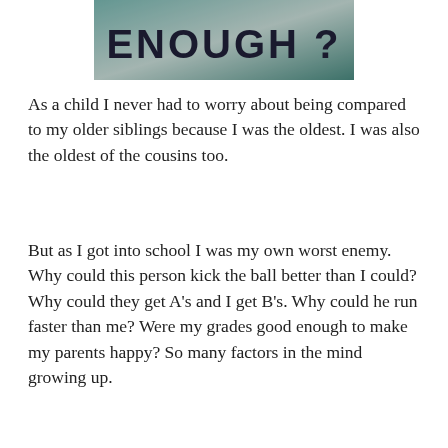[Figure (other): Book or image banner showing bold distressed text 'ENOUGH ?' on a dark teal/green gradient background]
As a child I never had to worry about being compared to my older siblings because I was the oldest. I was also the oldest of the cousins too.
But as I got into school I was my own worst enemy. Why could this person kick the ball better than I could? Why could they get A's and I get B's. Why could he run faster than me? Were my grades good enough to make my parents happy? So many factors in the mind growing up.